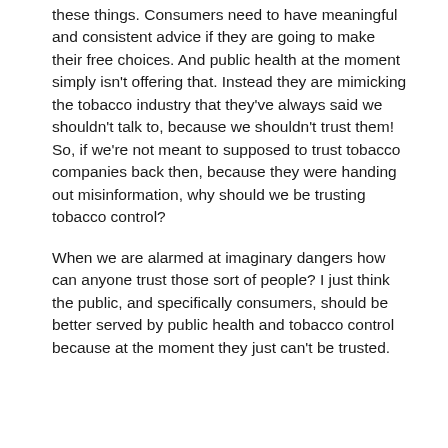these things. Consumers need to have meaningful and consistent advice if they are going to make their free choices. And public health at the moment simply isn't offering that. Instead they are mimicking the tobacco industry that they've always said we shouldn't talk to, because we shouldn't trust them! So, if we're not meant to supposed to trust tobacco companies back then, because they were handing out misinformation, why should we be trusting tobacco control?
When we are alarmed at imaginary dangers how can anyone trust those sort of people? I just think the public, and specifically consumers, should be better served by public health and tobacco control because at the moment they just can't be trusted.